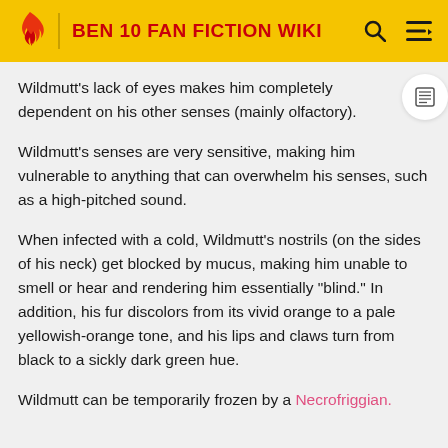BEN 10 FAN FICTION WIKI
Wildmutt's lack of eyes makes him completely dependent on his other senses (mainly olfactory).
Wildmutt's senses are very sensitive, making him vulnerable to anything that can overwhelm his senses, such as a high-pitched sound.
When infected with a cold, Wildmutt's nostrils (on the sides of his neck) get blocked by mucus, making him unable to smell or hear and rendering him essentially "blind." In addition, his fur discolors from its vivid orange to a pale yellowish-orange tone, and his lips and claws turn from black to a sickly dark green hue.
Wildmutt can be temporarily frozen by a Necrofriggian.